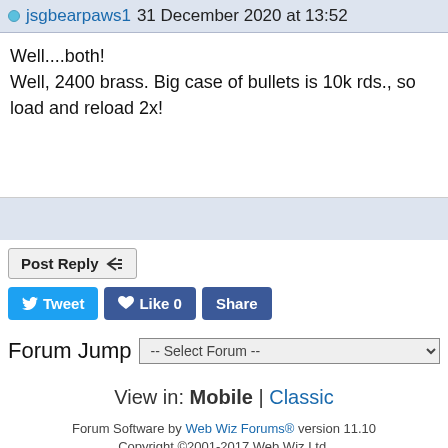jsgbearpaws1 31 December 2020 at 13:52
Well....both!
Well, 2400 brass. Big case of bullets is 10k rds., so load and reload 2x!
Post Reply
Tweet   Like 0   Share
Forum Jump  -- Select Forum --
View in: Mobile | Classic
Forum Software by Web Wiz Forums® version 11.10
Copyright ©2001-2017 Web Wiz Ltd.